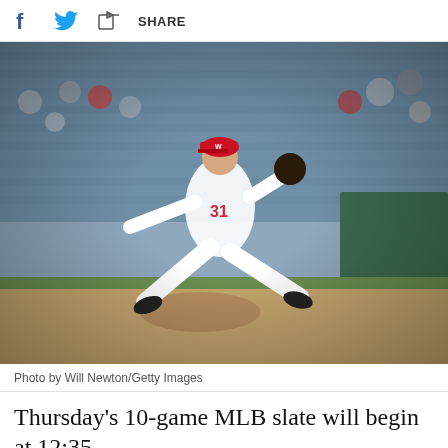f [twitter] SHARE
[Figure (photo): Washington Nationals pitcher number 31 in white uniform and red cap mid-pitch delivery on the mound, with fans in stadium seating behind him]
Photo by Will Newton/Getty Images
Thursday's 10-game MLB slate will begin at 12:35